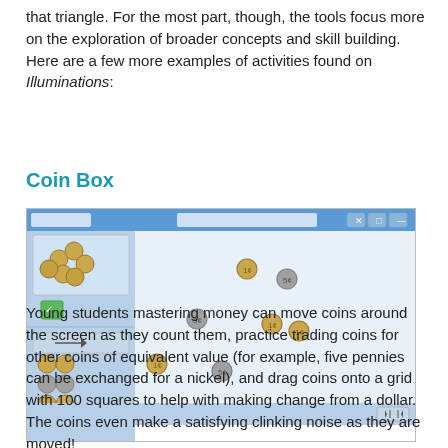that triangle. For the most part, though, the tools focus more on the exploration of broader concepts and skill building. Here are a few more examples of activities found on Illuminations:
Coin Box
[Figure (screenshot): Screenshot of Coin Box interactive tool showing coins scattered on a light blue workspace area with a sidebar panel on the left and navigation controls. Various coin images are arranged across the screen.]
Young students mastering money can move coins around the screen as they count them, practice trading coins for other coins of equivalent value (for example, five pennies can be exchanged for a nickel), and drag coins onto a grid with 100 squares to help with making change from a dollar. The coins even make a satisfying clinking noise as they are moved!